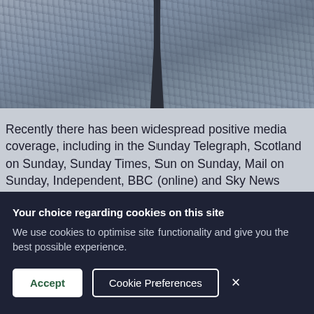[Figure (photo): Aerial or landscape photograph showing a dark path or road and a tree silhouette on a grey rocky/icy terrain]
Recently there has been widespread positive media coverage, including in the Sunday Telegraph, Scotland on Sunday, Sunday Times, Sun on Sunday, Mail on Sunday, Independent, BBC (online) and Sky News (online), of the Army's Ice Maiden team becoming the ...
Read More »
Your choice regarding cookies on this site
We use cookies to optimise site functionality and give you the best possible experience.
Accept   Cookie Preferences   ×